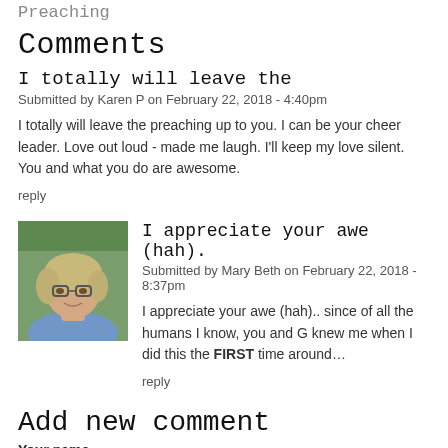Preaching
Comments
I totally will leave the
Submitted by Karen P on February 22, 2018 - 4:40pm
I totally will leave the preaching up to you. I can be your cheer leader. Love out loud - made me laugh. I'll keep my love silent. You and what you do are awesome.
reply
[Figure (photo): Avatar photo of a woman with glasses and blonde/gray hair, wearing a blue top, outdoors with green background.]
I appreciate your awe (hah).
Submitted by Mary Beth on February 22, 2018 - 8:37pm
I appreciate your awe (hah).. since of all the humans I know, you and G knew me when I did this the FIRST time around...
reply
Add new comment
Your name